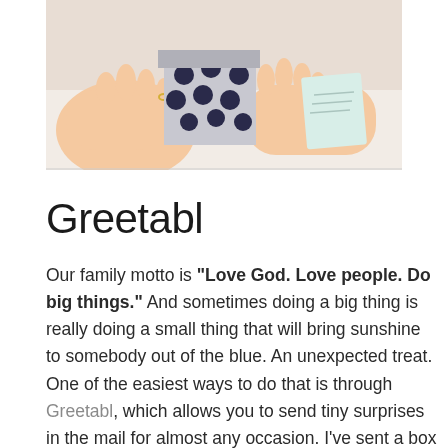[Figure (photo): Hands holding a small gift box with dark blue polka dot pattern on white background, opened to reveal contents, with a card visible in the background on a light surface.]
Greetabl
Our family motto is "Love God. Love people. Do big things." And sometimes doing a big thing is really doing a small thing that will bring sunshine to somebody out of the blue. An unexpected treat. One of the easiest ways to do that is through Greetabl, which allows you to send tiny surprises in the mail for almost any occasion. I've sent a box of confetti, a box of nail polish, even a single piece of chocolate. The packaging is gorgeous and fully customizable – you